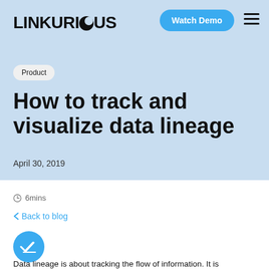LINKURIOUS
Watch Demo
Product
How to track and visualize data lineage
April 30, 2019
6mins
< Back to blog
Data lineage is about tracking the flow of information. It is